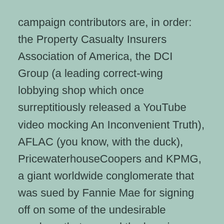campaign contributors are, in order: the Property Casualty Insurers Association of America, the DCI Group (a leading correct-wing lobbying shop which once surreptitiously released a YouTube video mocking An Inconvenient Truth), AFLAC (you know, with the duck), PricewaterhouseCoopers and KPMG, a giant worldwide conglomerate that was sued by Fannie Mae for signing off on some of the undesirable numbers that popped the housing bubble and nearly brought down the world's economic technique in 2008.
When Wilhelm Hueper of the National Cancer